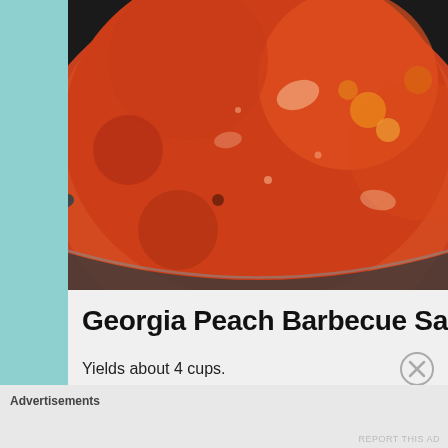[Figure (photo): Close-up photo of orange-red barbecue sauce bubbling/simmering in a round cooking pan on a dark stovetop]
Georgia Peach Barbecue Sa
Yields about 4 cups.
Advertisements
REPORT THIS AD